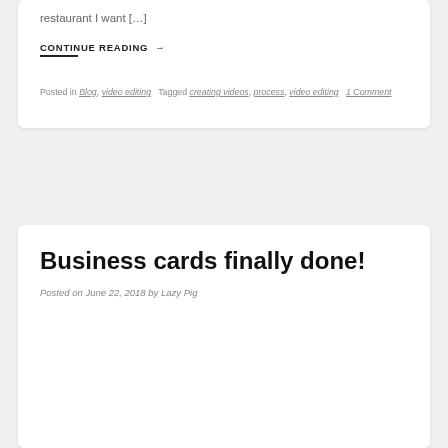restaurant I want […]
CONTINUE READING →
Posted in Blog, video editing  Tagged creating videos, process, video editing  1 Comment
Business cards finally done!
Posted on June 22, 2018 by Lazy Pig